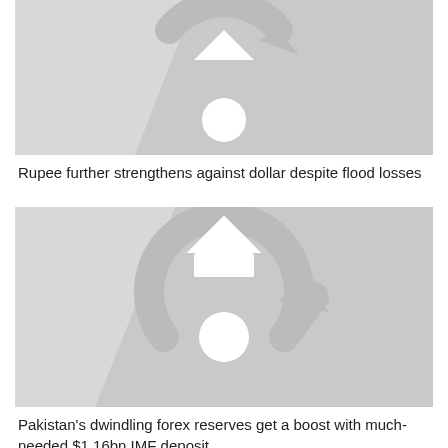[Figure (illustration): Thumbnail placeholder image with Geo News logo watermark (partial, top portion visible), light gray background with darker gray diagonal shadow]
Rupee further strengthens against dollar despite flood losses
[Figure (illustration): Thumbnail placeholder image with Geo News logo watermark, light gray background with darker gray diagonal shadow, full logo visible]
Pakistan's dwindling forex reserves get a boost with much-needed $1.16bn IMF deposit